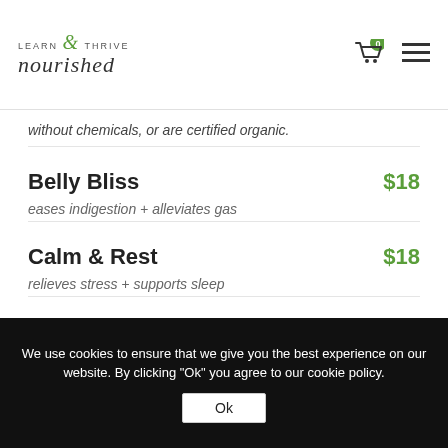LEARN & THRIVE nourished
without chemicals, or are certified organic.
Belly Bliss $18
eases indigestion + alleviates gas
Calm & Rest $18
relieves stress + supports sleep
Gentle Detox $18
cleanses the liver + purifies the blood
We use cookies to ensure that we give you the best experience on our website. By clicking "Ok" you agree to our cookie policy.